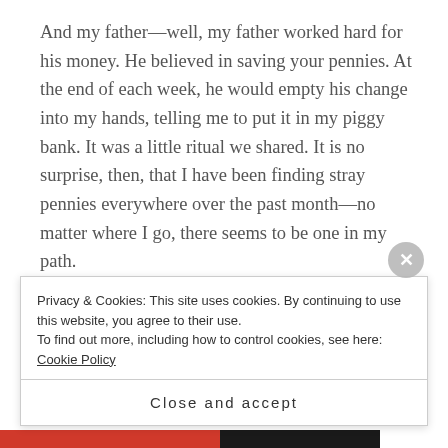And my father—well, my father worked hard for his money. He believed in saving your pennies. At the end of each week, he would empty his change into my hands, telling me to put it in my piggy bank. It was a little ritual we shared. It is no surprise, then, that I have been finding stray pennies everywhere over the past month—no matter where I go, there seems to be one in my path.
My friends—they want to talk about it. To ask the details of his coming and going. I cannot. It is
Privacy & Cookies: This site uses cookies. By continuing to use this website, you agree to their use.
To find out more, including how to control cookies, see here: Cookie Policy
Close and accept